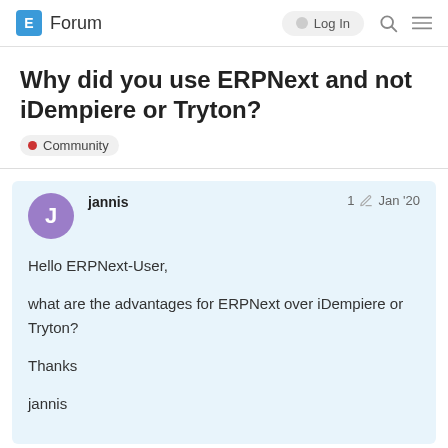E Forum   Log In
Why did you use ERPNext and not iDempiere or Tryton?
Community
jannis   1 ✏  Jan '20

Hello ERPNext-User,

what are the advantages for ERPNext over iDempiere or Tryton?

Thanks

jannis
1 / 7